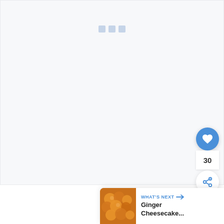[Figure (screenshot): A mostly blank white/light grey rectangular area representing a loading or empty content placeholder, with small grey icon placeholder marks near the top center.]
[Figure (infographic): Social interaction panel showing a blue circular heart/like button, a count of 30, and a share button below it, positioned on the right side.]
30
[Figure (screenshot): A 'What's Next' card in the bottom right corner showing a thumbnail image of orange ginger cheesecake bites, with the label 'WHAT'S NEXT →' in blue and the title 'Ginger Cheesecake...' in bold black text.]
WHAT'S NEXT → Ginger Cheesecake...